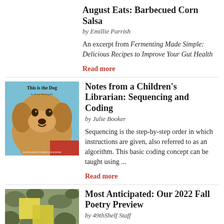August Eats: Barbecued Corn Salsa
by Emillie Parrish
An excerpt from Fermenting Made Simple: Delicious Recipes to Improve Your Gut Health
Read more
[Figure (illustration): Book cover of 'This is the Dog' showing a golden retriever dog illustration]
Notes from a Children's Librarian: Sequencing and Coding
by Julie Booker
Sequencing is the step-by-step order in which instructions are given, also referred to as an algorithm. This basic coding concept can be taught using ...
Read more
[Figure (illustration): Book cover with camouflage pattern background and yellow sticky note squares]
Most Anticipated: Our 2022 Fall Poetry Preview
by 49thShelf Staff